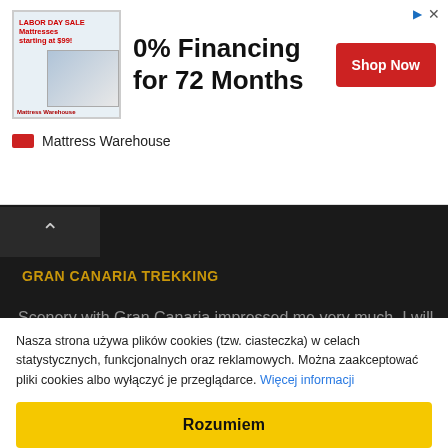[Figure (screenshot): Mattress Warehouse advertisement banner: image of mattresses, text '0% Financing for 72 Months', red 'Shop Now' button, Mattress Warehouse logo]
GRAN CANARIA TREKKING
Scenery with Gran Canaria impressed me very much. I will have to go back there one day to discover this island to go trekking. There
WELCOME TO NEWSLETTER
Sign up to receive news.
Nasza strona używa plików cookies (tzw. ciasteczka) w celach statystycznych, funkcjonalnych oraz reklamowych. Można zaakceptować pliki cookies albo wyłączyć je przeglądarce. Więcej informacji
Rozumiem